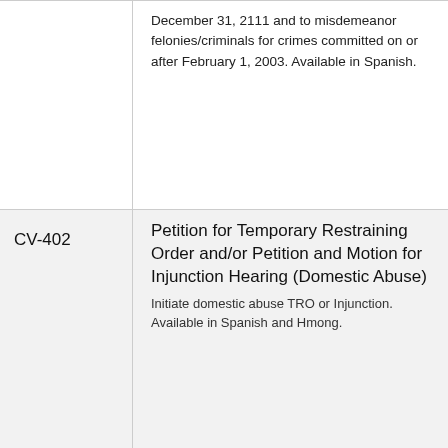December 31, 2111 and to misdemeanor felonies/criminals for crimes committed on or after February 1, 2003. Available in Spanish.
| Form | Description |
| --- | --- |
| CV-402 | Petition for Temporary Restraining Order and/or Petition and Motion for Injunction Hearing (Domestic Abuse)
Initiate domestic abuse TRO or Injunction. Available in Spanish and Hmong. |